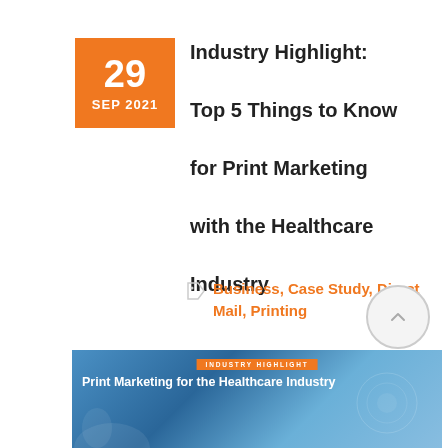Industry Highlight:

Top 5 Things to Know

for Print Marketing

with the Healthcare

Industry
Business, Case Study, Direct Mail, Printing
[Figure (photo): Hero image for article titled 'Print Marketing for the Healthcare Industry' with orange 'Industry Highlight' label banner at top, white title text, and background showing healthcare/technology imagery in blue tones.]